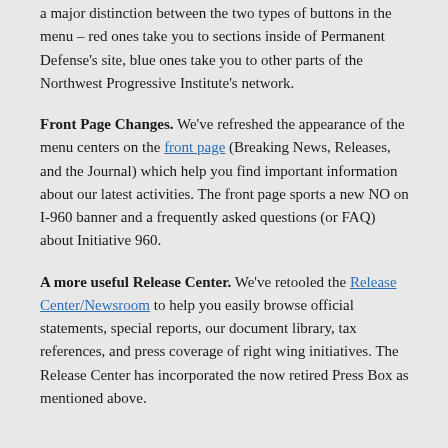a major distinction between the two types of buttons in the menu – red ones take you to sections inside of Permanent Defense's site, blue ones take you to other parts of the Northwest Progressive Institute's network.
Front Page Changes. We've refreshed the appearance of the menu centers on the front page (Breaking News, Releases, and the Journal) which help you find important information about our latest activities. The front page sports a new NO on I-960 banner and a frequently asked questions (or FAQ) about Initiative 960.
A more useful Release Center. We've retooled the Release Center/Newsroom to help you easily browse official statements, special reports, our document library, tax references, and press coverage of right wing initiatives. The Release Center has incorporated the now retired Press Box as mentioned above.